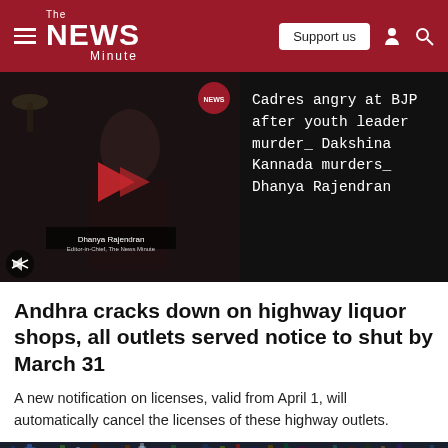The News Minute
[Figure (screenshot): Video thumbnail showing Dhanya Rajendran with a play button overlay, news badge, and mute icon. Related headline panel on right.]
Cadres angry at BJP after youth leader murder_ Dakshina Kannada murders_ Dhanya Rajendran
Andhra cracks down on highway liquor shops, all outlets served notice to shut by March 31
A new notification on licenses, valid from April 1, will automatically cancel the licenses of these highway outlets.
[Figure (photo): Bottom strip showing bottles of liquor on shelves in a liquor store/shop.]